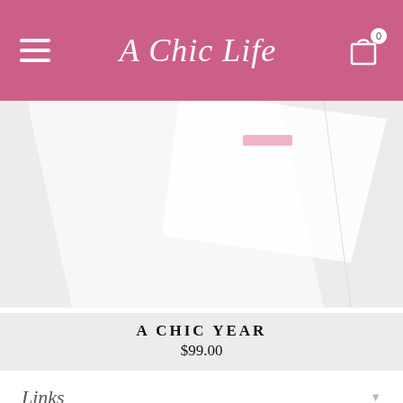A Chic Life
[Figure (photo): Partial view of white product/packaging items on a light gray background, angled composition]
A CHIC YEAR
$99.00
Links
Payment